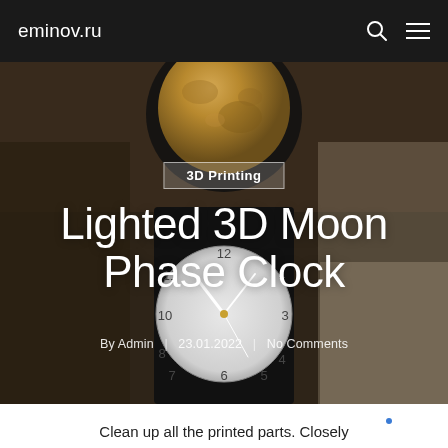eminov.ru
[Figure (photo): Hero image showing a 3D printed moon phase clock with a moon globe at top and analog clock face below, on a dark background]
3D Printing
Lighted 3D Moon Phase Clock
By Admin  |  23.01.2022  |  No Comments
Clean up all the printed parts. Closely